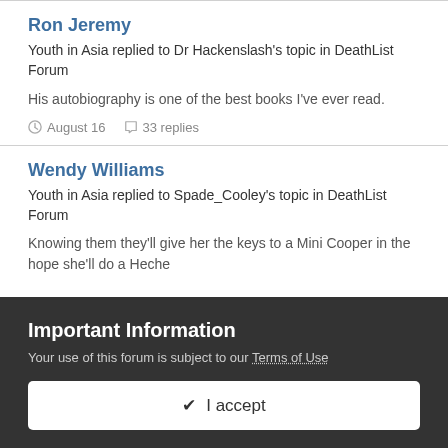Ron Jeremy
Youth in Asia replied to Dr Hackenslash's topic in DeathList Forum
His autobiography is one of the best books I've ever read.
August 16   33 replies
Wendy Williams
Youth in Asia replied to Spade_Cooley's topic in DeathList Forum
Knowing them they'll give her the keys to a Mini Cooper in the hope she'll do a Heche
Important Information
Your use of this forum is subject to our Terms of Use
✔  I accept